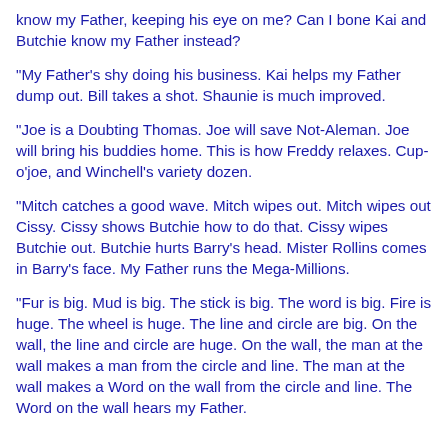know my Father, keeping his eye on me? Can I bone Kai and Butchie know my Father instead?
"My Father's shy doing his business. Kai helps my Father dump out. Bill takes a shot. Shaunie is much improved.
"Joe is a Doubting Thomas. Joe will save Not-Aleman. Joe will bring his buddies home. This is how Freddy relaxes. Cup-o'joe, and Winchell's variety dozen.
"Mitch catches a good wave. Mitch wipes out. Mitch wipes out Cissy. Cissy shows Butchie how to do that. Cissy wipes Butchie out. Butchie hurts Barry's head. Mister Rollins comes in Barry's face. My Father runs the Mega-Millions.
"Fur is big. Mud is big. The stick is big. The word is big. Fire is huge. The wheel is huge. The line and circle are big. On the wall, the line and circle are huge. On the wall, the man at the wall makes a man from the circle and line. The man at the wall makes a Word on the wall from the circle and line. The Word on the wall hears my Father.